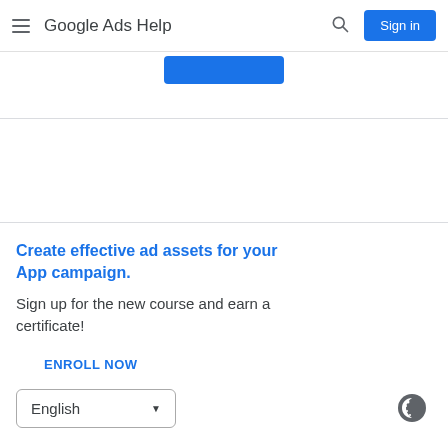Google Ads Help
[Figure (screenshot): Partial blue button fragment visible at top center of page]
Create effective ad assets for your App campaign. Sign up for the new course and earn a certificate! ENROLL NOW
English (language selector dropdown)